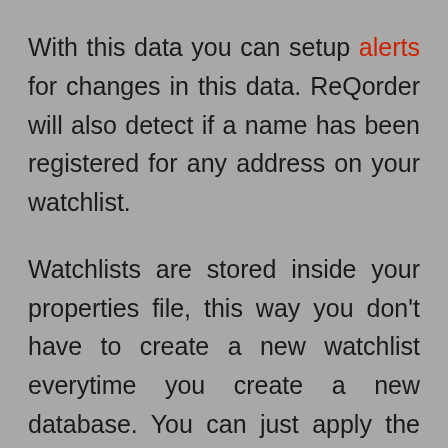With this data you can setup alerts for changes in this data. ReQorder will also detect if a name has been registered for any address on your watchlist.
Watchlists are stored inside your properties file, this way you don't have to create a new watchlist everytime you create a new database. You can just apply the selected watchlist to the currently selected database.